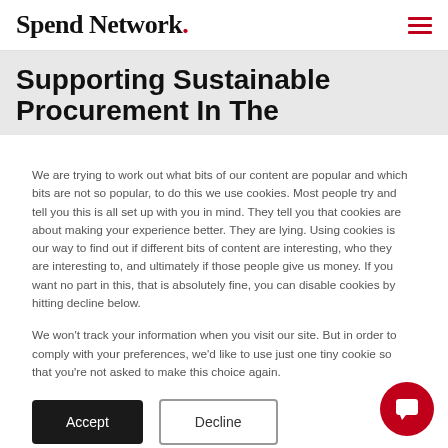Spend Network.
Supporting Sustainable Procurement In The
We are trying to work out what bits of our content are popular and which bits are not so popular, to do this we use cookies. Most people try and tell you this is all set up with you in mind. They tell you that cookies are about making your experience better. They are lying. Using cookies is our way to find out if different bits of content are interesting, who they are interesting to, and ultimately if those people give us money. If you want no part in this, that is absolutely fine, you can disable cookies by hitting decline below.
We won't track your information when you visit our site. But in order to comply with your preferences, we'd like to use just one tiny cookie so that you're not asked to make this choice again.
Accept    Decline